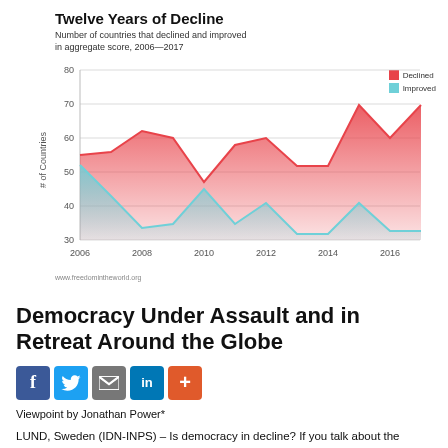Twelve Years of Decline
Number of countries that declined and improved in aggregate score, 2006—2017
[Figure (area-chart): Twelve Years of Decline]
www.freedomintheworld.org
Democracy Under Assault and in Retreat Around the Globe
Viewpoint by Jonathan Power*
LUND, Sweden (IDN-INPS) – Is democracy in decline? If you talk about the quality of democracy the answer is